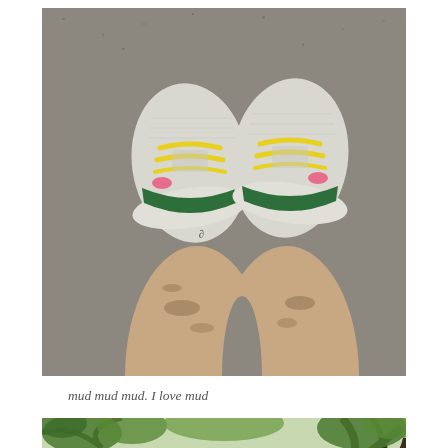[Figure (photo): Overhead view of a person's legs and feet wearing grey running shoes with yellow and pink laces, standing on asphalt. The legs appear muddy. A small tattoo is visible on the left ankle.]
mud mud mud. I love mud
[Figure (photo): Partial photo showing the top of a person's grey-haired head with green trees and branches visible in the background overhead.]